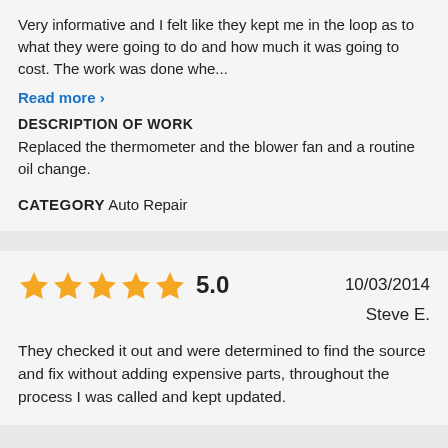Very informative and I felt like they kept me in the loop as to what they were going to do and how much it was going to cost. The work was done whe...
Read more ›
DESCRIPTION OF WORK
Replaced the thermometer and the blower fan and a routine oil change.
CATEGORY Auto Repair
[Figure (other): 5 gold stars rating, score 5.0, date 10/03/2014, reviewer Steve E.]
They checked it out and were determined to find the source and fix without adding expensive parts, throughout the process I was called and kept updated.